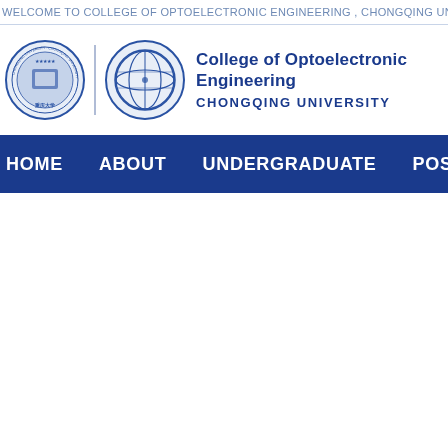WELCOME TO COLLEGE OF OPTOELECTRONIC ENGINEERING , CHONGQING UNIVERSITY
[Figure (logo): Chongqing University seal logo and College of Optoelectronic Engineering globe logo, with text: College of Optoelectronic Engineering, CHONGQING UNIVERSITY]
College of Optoelectronic Engineering
CHONGQING UNIVERSITY
HOME    ABOUT    UNDERGRADUATE    POST